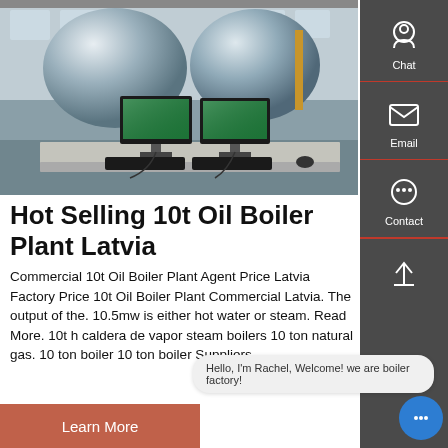[Figure (photo): Industrial boiler plant facility showing two large white cylindrical boilers in a factory, with two computer monitors and keyboards on a desk in the foreground displaying green interface screens.]
Hot Selling 10t Oil Boiler Plant Latvia
Commercial 10t Oil Boiler Plant Agent Price Latvia Factory Price 10t Oil Boiler Plant Commercial Latvia. The output of the. 10.5mw is either hot water or steam. Read More. 10t h caldera de vapor steam boilers 10 ton natural gas. 10 ton boiler 10 ton boiler Suppliers
Hello, I'm Rachel, Welcome! we are boiler factory!
Learn More